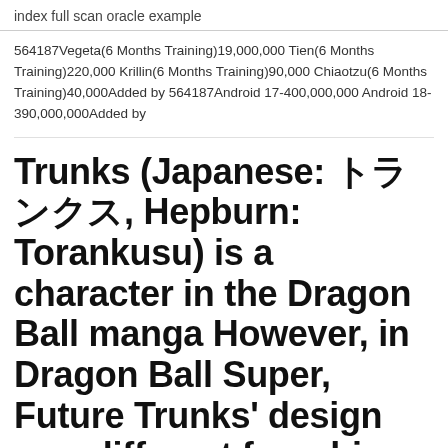index full scan oracle example
564187Vegeta(6 Months Training)19,000,000 Tien(6 Months Training)220,000 Krillin(6 Months Training)90,000 Chiaotzu(6 Months Training)40,000Added by 564187Android 17-400,000,000 Android 18-390,000,000Added by
Trunks (Japanese: トランクス, Hepburn: Torankusu) is a character in the Dragon Ball manga However, in Dragon Ball Super, Future Trunks' design was different from his appearance in the manga, wearing an outfit similar